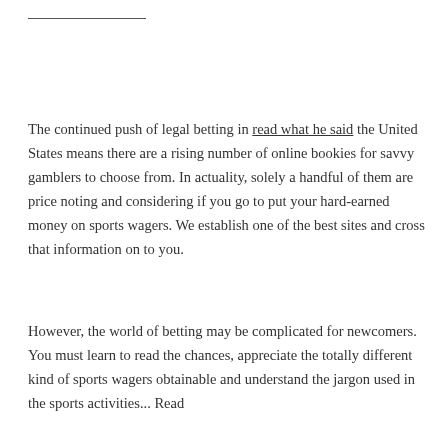The continued push of legal betting in read what he said the United States means there are a rising number of online bookies for savvy gamblers to choose from. In actuality, solely a handful of them are price noting and considering if you go to put your hard-earned money on sports wagers. We establish one of the best sites and cross that information on to you.
However, the world of betting may be complicated for newcomers. You must learn to read the chances, appreciate the totally different kind of sports wagers obtainable and understand the jargon used in the sports activities... Read